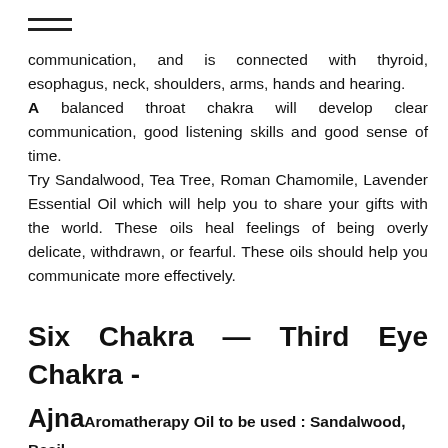≡
communication, and is connected with thyroid, esophagus, neck, shoulders, arms, hands and hearing. A balanced throat chakra will develop clear communication, good listening skills and good sense of time. Try Sandalwood, Tea Tree, Roman Chamomile, Lavender Essential Oil which will help you to share your gifts with the world. These oils heal feelings of being overly delicate, withdrawn, or fearful. These oils should help you communicate more effectively.
Six Chakra — Third Eye Chakra - Ajna Aromatherapy Oil to be used : Sandalwood, Basil, Lavender, Eucalyptus, Rosemary, Sandalwood Essential